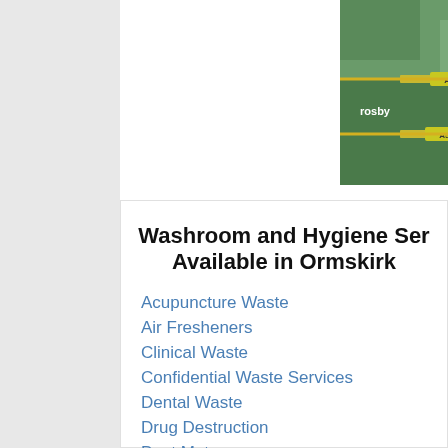[Figure (map): Satellite/road map showing Maghull, Crosby area with roads A5758, A5036, and M58 motorway in northwest England]
Washroom and Hygiene Services Available in Ormskirk
Acupuncture Waste
Air Fresheners
Clinical Waste
Confidential Waste Services
Dental Waste
Drug Destruction
Dust Mats
General Waste
Hand Care
Hand Drying
Infection Control
Ink Block
Janitorial Supplies